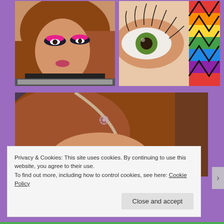[Figure (photo): Close-up of a woman with auburn hair and dramatic pink/magenta eye makeup and dark eyeshadow, wearing a black top]
[Figure (photo): Extreme close-up of an eye with long false lashes and colorful rainbow face paint/art visible in the corner]
[Figure (photo): Close-up of a woman with auburn hair pulled up, showing neon pink/coral eyeshadow, hair accessory visible]
Privacy & Cookies: This site uses cookies. By continuing to use this website, you agree to their use.
To find out more, including how to control cookies, see here: Cookie Policy
Close and accept